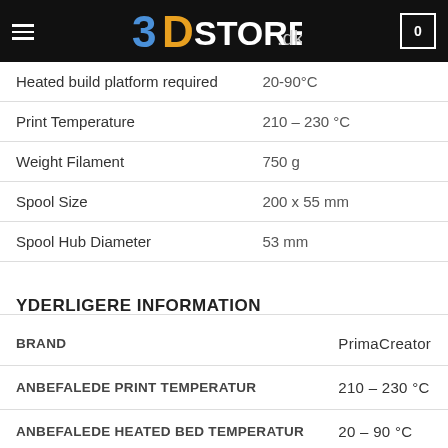3DSTORE.dk
| Property | Value |
| --- | --- |
| Heated build platform required | 20-90°C |
| Print Temperature | 210 – 230 °C |
| Weight Filament | 750 g |
| Spool Size | 200 x 55 mm |
| Spool Hub Diameter | 53 mm |
YDERLIGERE INFORMATION
| Attribute | Value |
| --- | --- |
| BRAND | PrimaCreator |
| ANBEFALEDE PRINT TEMPERATUR | 210 – 230 °C |
| ANBEFALEDE HEATED BED TEMPERATUR | 20 – 90 °C |